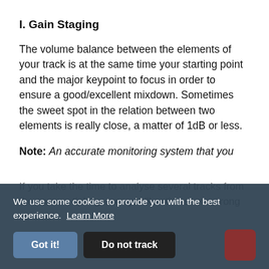I. Gain Staging
The volume balance between the elements of your track is at the same time your starting point and the major keypoint to focus in order to ensure a good/excellent mixdown. Sometimes the sweet spot in the relation between two elements is really close, a matter of 1dB or less.
Note: An accurate monitoring system that you know well and can rely on is absolutely necessary
If you take the time to analyse several tracks from the same genre and multiple genres you'll notice some strong volume
We use some cookies to provide you with the best experience.  Learn More
Got it!   Do not track